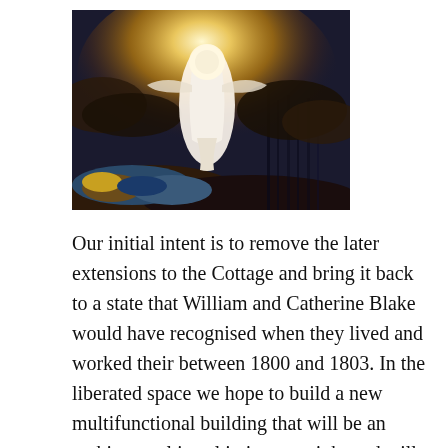[Figure (illustration): A painting depicting a glowing white angelic figure ascending from dark rocky terrain, with golden light radiating behind it and dark clouds or water below. Style reminiscent of William Blake's mystical artwork.]
Our initial intent is to remove the later extensions to the Cottage and bring it back to a state that William and Catherine Blake would have recognised when they lived and worked their between 1800 and 1803. In the liberated space we hope to build a new multifunctional building that will be an architectural jewel in its own right and will draw people to the village of Felpham just to see it